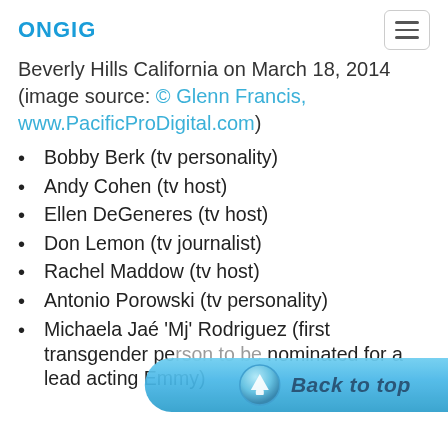ONGIG
Beverly Hills California on March 18, 2014 (image source: © Glenn Francis, www.PacificProDigital.com)
Bobby Berk (tv personality)
Andy Cohen (tv host)
Ellen DeGeneres (tv host)
Don Lemon (tv journalist)
Rachel Maddow (tv host)
Antonio Porowski (tv personality)
Michaela Jaé 'Mj' Rodriguez (first transgender person to be nominated for a lead acting Emmy)